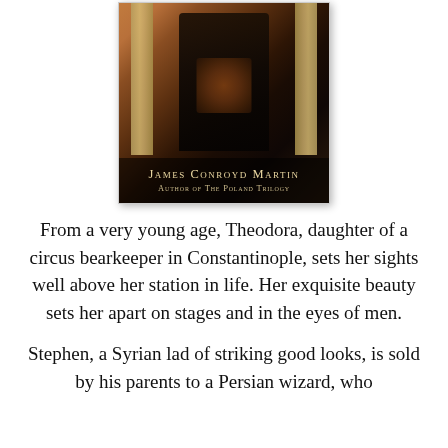[Figure (illustration): Book cover artwork showing dark Byzantine/medieval figures between pillars, with author name 'James Conroyd Martin' and subtitle 'Author of The Poland Trilogy' overlaid on the bottom of the cover image.]
From a very young age, Theodora, daughter of a circus bearkeeper in Constantinople, sets her sights well above her station in life. Her exquisite beauty sets her apart on stages and in the eyes of men.
Stephen, a Syrian lad of striking good looks, is sold by his parents to a Persian wizard, who